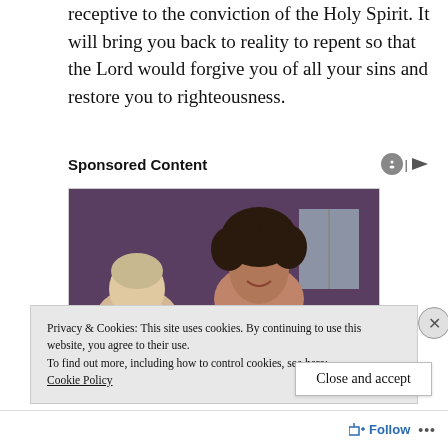receptive to the conviction of the Holy Spirit. It will bring you back to reality to repent so that the Lord would forgive you of all your sins and restore you to righteousness.
Sponsored Content
[Figure (photo): Two women, one with curly dark hair smiling, another with short light hair, in front of a purple curtain window]
Privacy & Cookies: This site uses cookies. By continuing to use this website, you agree to their use.
To find out more, including how to control cookies, see here:
Cookie Policy
Close and accept
Follow